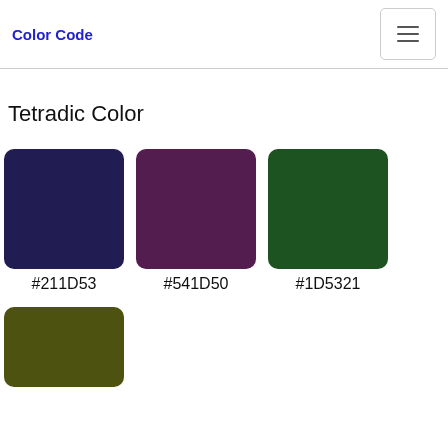Color Code
Tetradic Color
[Figure (infographic): Four color swatches showing tetradic colors: #211D53 (dark navy), #541D50 (dark purple), #1D5321 (dark green), and a fourth olive/dark yellow-green color (partially visible).]
#211D53
#541D50
#1D5321